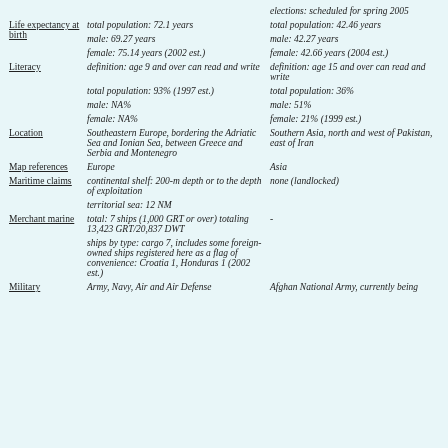| Field | Column 1 | Column 2 |
| --- | --- | --- |
|  |  | elections: scheduled for spring 2005 |
| Life expectancy at birth | total population: 72.1 years | total population: 42.46 years |
|  | male: 69.27 years | male: 42.27 years |
|  | female: 75.14 years (2002 est.) | female: 42.66 years (2004 est.) |
| Literacy | definition: age 9 and over can read and write | definition: age 15 and over can read and write |
|  | total population: 93% (1997 est.) | total population: 36% |
|  | male: NA% | male: 51% |
|  | female: NA% | female: 21% (1999 est.) |
| Location | Southeastern Europe, bordering the Adriatic Sea and Ionian Sea, between Greece and Serbia and Montenegro | Southern Asia, north and west of Pakistan, east of Iran |
| Map references | Europe | Asia |
| Maritime claims | continental shelf: 200-m depth or to the depth of exploitation | none (landlocked) |
|  | territorial sea: 12 NM |  |
| Merchant marine | total: 7 ships (1,000 GRT or over) totaling 13,423 GRT/20,837 DWT | - |
|  | ships by type: cargo 7, includes some foreign-owned ships registered here as a flag of convenience: Croatia 1, Honduras 1 (2002 est.) |  |
| Military | Army, Navy, Air and Air Defense | Afghan National Army, currently being |